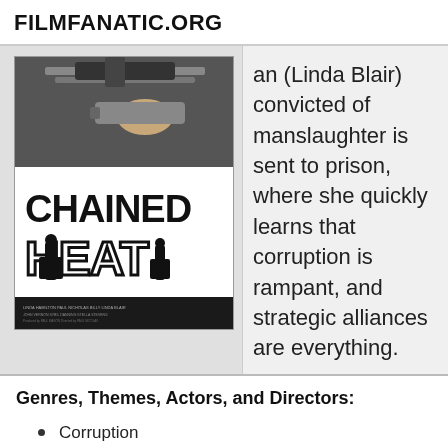FILMFANATIC.ORG
[Figure (photo): Movie poster for 'Chained Heat' (1983) showing a gun and silhouetted figures against a white background with bold black title text]
an (Linda Blair) convicted of manslaughter is sent to prison, where she quickly learns that corruption is rampant, and strategic alliances are everything.
Genres, Themes, Actors, and Directors:
Corruption
Prisoners
Revenge
Stella Stevens Films